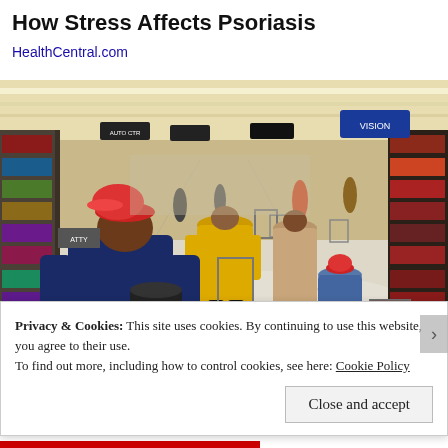How Stress Affects Psoriasis
HealthCentral.com
[Figure (photo): Interior of a large retail store (resembling Walmart) with multiple shoppers pushing carts down the main aisle. Several people visible including a woman in a red hat and dark blue coat in foreground, a person in a yellow jacket, and others walking away toward the back of the store. Store shelves are stocked on both sides.]
Privacy & Cookies: This site uses cookies. By continuing to use this website, you agree to their use.
To find out more, including how to control cookies, see here: Cookie Policy
Close and accept